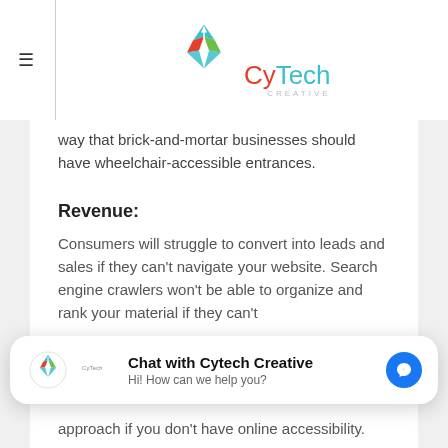[Figure (logo): CyTech Creative logo with diamond/arrow icon in red, blue, and green, and the text CyTech in red and teal with CREATIVE in small gray letters]
way that brick-and-mortar businesses should have wheelchair-accessible entrances.
Revenue:
Consumers will struggle to convert into leads and sales if they can't navigate your website. Search engine crawlers won't be able to organize and rank your material if they can't read it.
[Figure (screenshot): Chat popup: Chat with Cytech Creative - Hi! How can we help you? with Facebook Messenger icon]
approach if you don't have online accessibility.